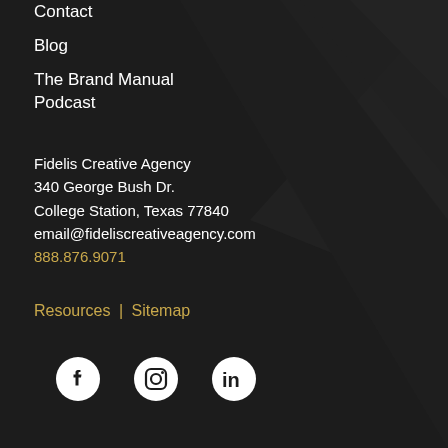Contact
Blog
The Brand Manual Podcast
Fidelis Creative Agency
340 George Bush Dr.
College Station, Texas 77840
email@fideliscreativeagency.com
888.876.9071
Resources | Sitemap
[Figure (illustration): Social media icons: Facebook, Instagram, LinkedIn in white on dark background]